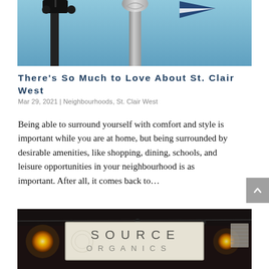[Figure (photo): Outdoor photo showing a decorative black lamp post on the left and a metallic pole with a spiral/scroll design in the center, with a blue and white flag visible on the right, against a clear blue sky.]
There's So Much to Love About St. Clair West
Mar 29, 2021 | Neighbourhoods, St. Clair West
Being able to surround yourself with comfort and style is important while you are at home, but being surrounded by desirable amenities, like shopping, dining, schools, and leisure opportunities in your neighbourhood is as important. After all, it comes back to…
[Figure (photo): Storefront photo of Source Organics shop sign, illuminated by warm orange lights on either side, with a pale beige sign board showing 'SOURCE' in large spaced letters and 'ORGANICS' below. Dark building facade visible at top.]